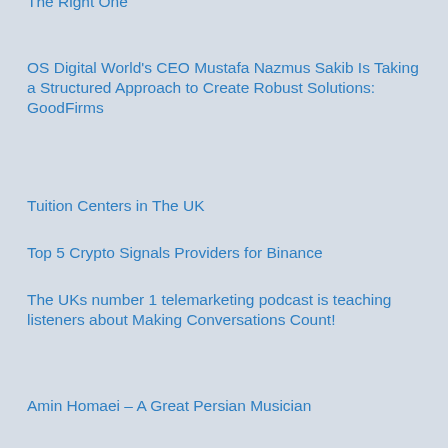The Right One
OS Digital World's CEO Mustafa Nazmus Sakib Is Taking a Structured Approach to Create Robust Solutions: GoodFirms
Tuition Centers in The UK
Top 5 Crypto Signals Providers for Binance
The UKs number 1 telemarketing podcast is teaching listeners about Making Conversations Count!
Amin Homaei – A Great Persian Musician
Benefits and Features of SEMrush SEO Tool
A B2B Marketing Strategy can Help Your Company Grow